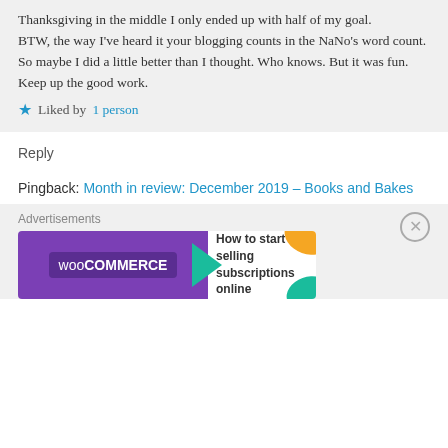Thanksgiving in the middle I only ended up with half of my goal.
BTW, the way I've heard it your blogging counts in the NaNo's word count. So maybe I did a little better than I thought. Who knows. But it was fun. Keep up the good work.
★ Liked by 1 person
Reply
Pingback: Month in review: December 2019 – Books and Bakes
[Figure (screenshot): WooCommerce advertisement banner: purple left side with WooCommerce logo and teal arrow, white right side with text 'How to start selling subscriptions online' and colorful leaf shapes]